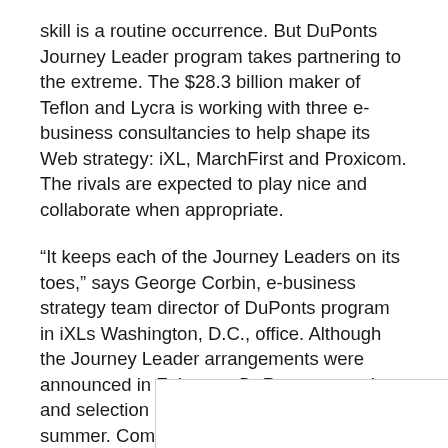skill is a routine occurrence. But DuPonts Journey Leader program takes partnering to the extreme. The $28.3 billion maker of Teflon and Lycra is working with three e-business consultancies to help shape its Web strategy: iXL, MarchFirst and Proxicom. The rivals are expected to play nice and collaborate when appropriate.
“It keeps each of the Journey Leaders on its toes,” says George Corbin, e-business strategy team director of DuPonts program in iXLs Washington, D.C., office. Although the Journey Leader arrangements were announced in February, DuPonts screening and selection process came to a head last summer. Companies were evaluated according to their capabilities and track records at DuPonts 100-plus business units. The three firms that made the cut are charged with managin… …on, hence th…